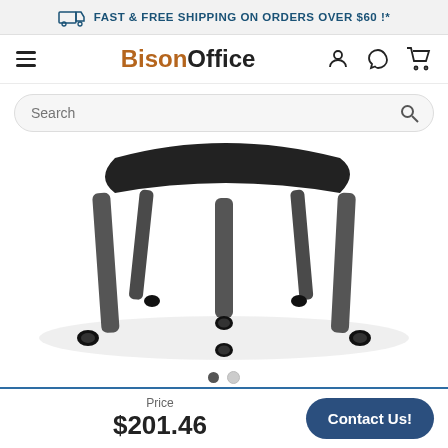FAST & FREE SHIPPING ON ORDERS OVER $60 !*
BisonOffice
Search
[Figure (photo): Close-up product photo showing the bottom portion of an office chair with dark grey/graphite legs and black caster wheels on a white background.]
Price $201.46
Contact Us!